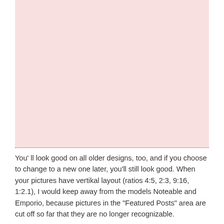[Figure (illustration): A light pink rectangular box taking up the upper portion of the page, with a dotted red bottom border.]
You' ll look good on all older designs, too, and if you choose to change to a new one later, you'll still look good. When your pictures have vertikal layout (ratios 4:5, 2:3, 9:16, 1:2.1), I would keep away from the models Noteable and Emporio, because pictures in the "Featured Posts" area are cut off so far that they are no longer recognizable.
Optionally, you can select one of the older styles that don't use